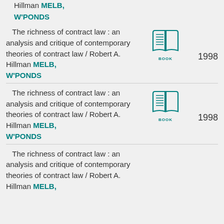Hillman MELB, W'PONDS
The richness of contract law : an analysis and critique of contemporary theories of contract law / Robert A. Hillman MELB, W'PONDS
[Figure (illustration): Open book icon in teal with label BOOK]
1998
The richness of contract law : an analysis and critique of contemporary theories of contract law / Robert A. Hillman MELB, W'PONDS
[Figure (illustration): Open book icon in teal with label BOOK]
1998
The richness of contract law : an analysis and critique of contemporary theories of contract law / Robert A. Hillman MELB,